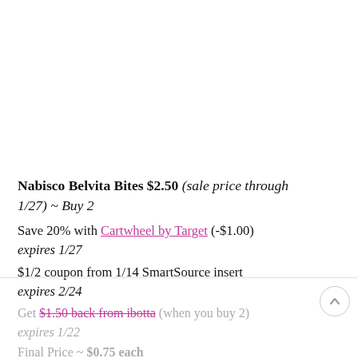Nabisco Belvita Bites $2.50 (sale price through 1/27) ~ Buy 2
Save 20% with Cartwheel by Target (-$1.00) expires 1/27
$1/2 coupon from 1/14 SmartSource insert expires 2/24
Get $1.50 back from ibotta (when you buy 2) expires 1/22
Final Price ~ $0.75 each